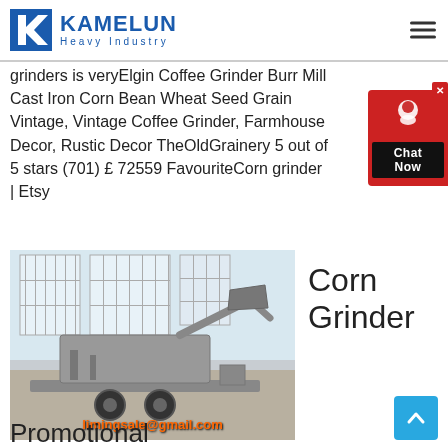[Figure (logo): Kamelun Heavy Industry logo with blue K icon and company name]
grinders is veryElgin Coffee Grinder Burr Mill Cast Iron Corn Bean Wheat Seed Grain Vintage, Vintage Coffee Grinder, Farmhouse Decor, Rustic Decor TheOldGrainery 5 out of 5 stars (701) £ 72559 FavouriteCorn grinder | Etsy
[Figure (photo): Industrial corn grinder / heavy machinery on a trailer in a warehouse, with watermark limingsale@gmail.com]
Corn Grinder
Promotional